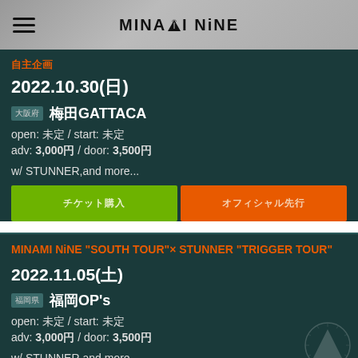MINAMI NiNE
2022.10.30(日)
梅田GATTACA
open: 未定 / start: 未定
adv: 3,000円 / door: 3,500円
w/ STUNNER,and more...
チケット購入 / オフィシャル先行
MINAMI NiNE "SOUTH TOUR"× STUNNER "TRIGGER TOUR"
2022.11.05(土)
福岡OP's
open: 未定 / start: 未定
adv: 3,000円 / door: 3,500円
w/ STUNNER,and more